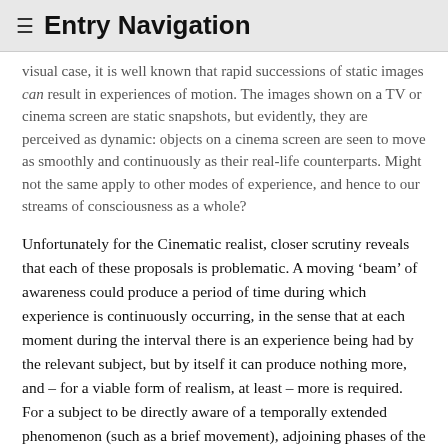≡ Entry Navigation
visual case, it is well known that rapid successions of static images can result in experiences of motion. The images shown on a TV or cinema screen are static snapshots, but evidently, they are perceived as dynamic: objects on a cinema screen are seen to move as smoothly and continuously as their real-life counterparts. Might not the same apply to other modes of experience, and hence to our streams of consciousness as a whole?
Unfortunately for the Cinematic realist, closer scrutiny reveals that each of these proposals is problematic. A moving 'beam' of awareness could produce a period of time during which experience is continuously occurring, in the sense that at each moment during the interval there is an experience being had by the relevant subject, but by itself it can produce nothing more, and – for a viable form of realism, at least – more is required. For a subject to be directly aware of a temporally extended phenomenon (such as a brief movement), adjoining phases of the phenomenon must in some manner be experienced together by the subject. As noted in §1.2, realists